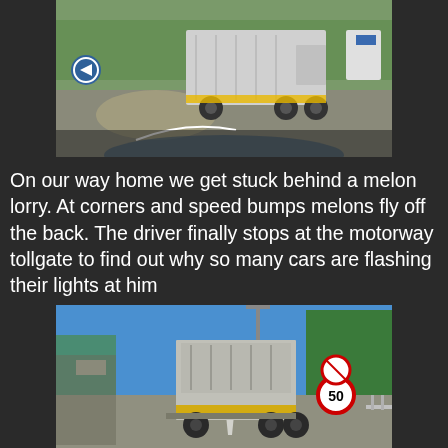[Figure (photo): Photo of a truck (lorry) carrying melons on a road, viewed from behind through a car windshield. Green trees visible in background, sunny day.]
On our way home we get stuck behind a melon lorry. At corners and speed bumps melons fly off the back. The driver finally stops at the motorway tollgate to find out why so many cars are flashing their lights at him
[Figure (photo): Photo of a lorry stopped at a motorway tollgate, viewed from behind. Road signs including a 50 speed limit sign visible on the right. Blue sky and green trees in background.]